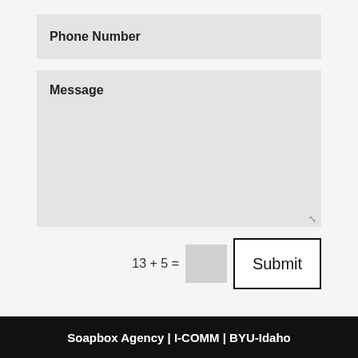Phone Number
Message
13 + 5 =
Submit
Soapbox Agency | I-COMM | BYU-Idaho